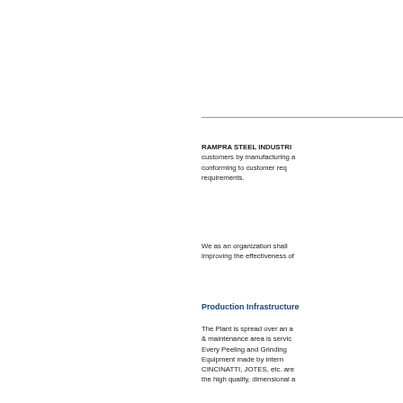RAMPRA STEEL INDUSTRIES customers by manufacturing and conforming to customer requirements.
We as an organization shall improving the effectiveness of
Production Infrastructure
The Plant is spread over an area & maintenance area is serviced. Every Peeling and Grinding Equipment made by internationally renowned companies like CINCINATTI, JOTES, etc. are the high quality, dimensional accuracy